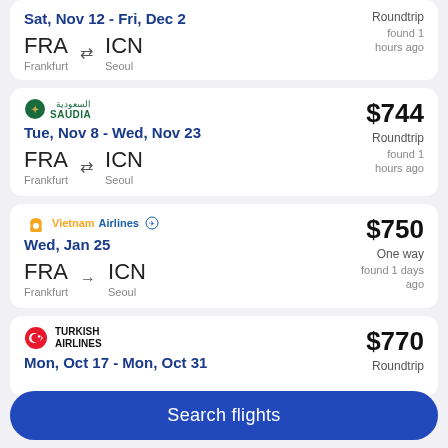Sat, Nov 12 - Fri, Dec 2 | FRA Frankfurt ↔ ICN Seoul | Roundtrip found 1 hours ago
SAUDIA | Tue, Nov 8 - Wed, Nov 23 | FRA Frankfurt ↔ ICN Seoul | $744 Roundtrip found 1 hours ago
Vietnam Airlines | Wed, Jan 25 | FRA Frankfurt → ICN Seoul | $750 One way found 1 days ago
TURKISH AIRLINES | Mon, Oct 17 - Mon, Oct 31 | $770 Roundtrip
Search flights